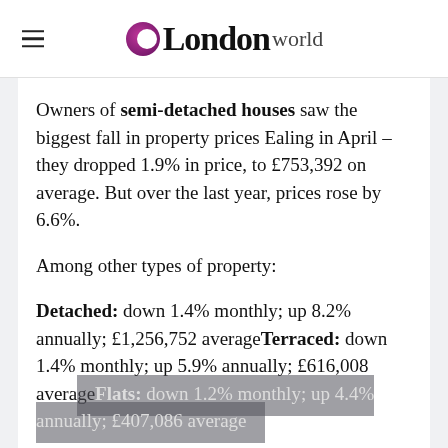OLondonWorld
Owners of semi-detached houses saw the biggest fall in property prices Ealing in April – they dropped 1.9% in price, to £753,392 on average. But over the last year, prices rose by 6.6%.
Among other types of property:
Detached: down 1.4% monthly; up 8.2% annually; £1,256,752 averageTerraced: down 1.4% monthly; up 5.9% annually; £616,008 averageFlats: down 1.2% monthly; up 4.4% annually; £407,086 average